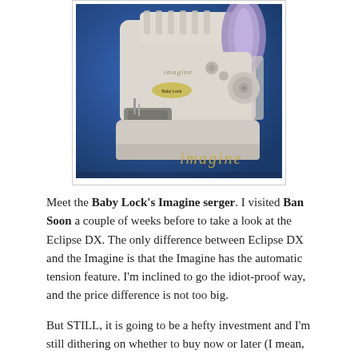[Figure (photo): Photo of a Baby Lock Imagine serger sewing machine on a blue background with the word 'imagine' in italic gold text at the bottom right. The machine is white/cream colored with thread spools visible.]
Meet the Baby Lock's Imagine serger. I visited Ban Soon a couple of weeks before to take a look at the Eclipse DX. The only difference between Eclipse DX and the Imagine is that the Imagine has the automatic tension feature. I'm inclined to go the idiot-proof way, and the price difference is not too big.
But STILL, it is going to be a hefty investment and I'm still dithering on whether to buy now or later (I mean, whether to buy one or not!). I really want one now, so that I can start cutting and sewing up projects for home. And I can still wait